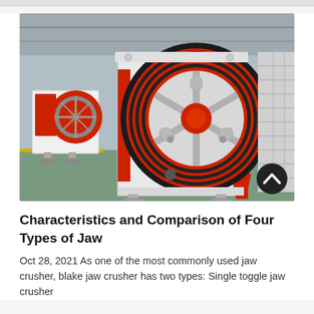[Figure (photo): Industrial jaw crusher machine with large red and black flywheel/pulley, white and red painted body, in a factory/warehouse setting. Multiple jaw crusher units visible in background.]
Characteristics and Comparison of Four Types of Jaw
Oct 28, 2021 As one of the most commonly used jaw crusher, blake jaw crusher has two types: Single toggle jaw crusher